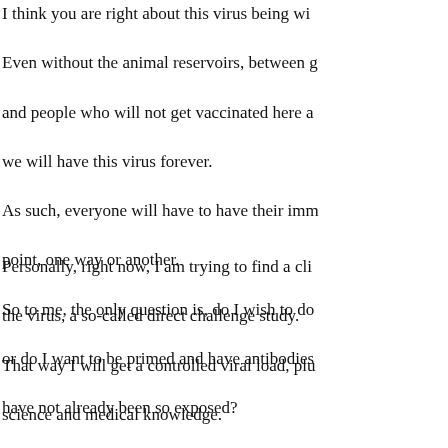I think you are right about this virus being wi... Even without the animal reservoirs, between g... and people who will not get vaccinated here a... we will have this virus forever. As such, everyone will have to have their imm... point, one way or another. So to me, the only question is, do I wish to do... or do I want to be primed and have antibodies... have not already been so exposed?
Personally, right now, I am trying to find a cli... the virus, a so-called direct challenge study. That way I will get a controlled viral load, plu... science and medical knowledge. If I was not planning on being inoculated with... chance to expose myself to a small viral load b... having them cough on me while I was wearing... In the manner in which people used to bring th... chicken pox or mumps or measles, to get it ov...